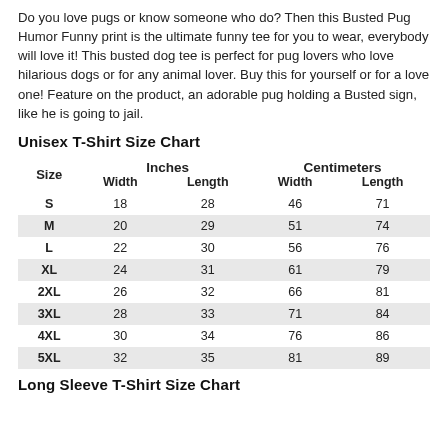Do you love pugs or know someone who do? Then this Busted Pug Humor Funny print is the ultimate funny tee for you to wear, everybody will love it! This busted dog tee is perfect for pug lovers who love hilarious dogs or for any animal lover. Buy this for yourself or for a love one! Feature on the product, an adorable pug holding a Busted sign, like he is going to jail.
Unisex T-Shirt Size Chart
| Size | Inches Width | Inches Length | Centimeters Width | Centimeters Length |
| --- | --- | --- | --- | --- |
| S | 18 | 28 | 46 | 71 |
| M | 20 | 29 | 51 | 74 |
| L | 22 | 30 | 56 | 76 |
| XL | 24 | 31 | 61 | 79 |
| 2XL | 26 | 32 | 66 | 81 |
| 3XL | 28 | 33 | 71 | 84 |
| 4XL | 30 | 34 | 76 | 86 |
| 5XL | 32 | 35 | 81 | 89 |
Long Sleeve T-Shirt Size Chart